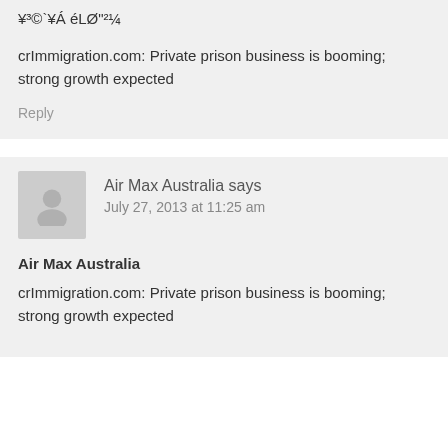¥³©`¥Á éLØ"²¼
crImmigration.com: Private prison business is booming; strong growth expected
Reply
Air Max Australia says July 27, 2013 at 11:25 am
Air Max Australia
crImmigration.com: Private prison business is booming; strong growth expected